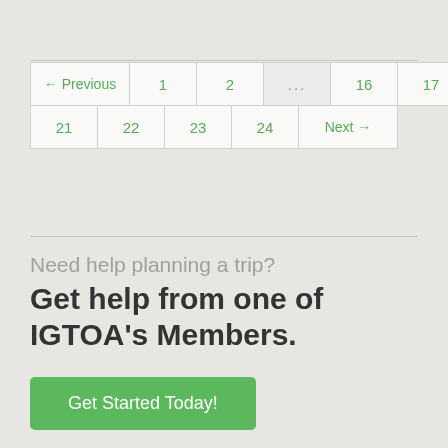[Figure (other): Pagination navigation with links: ← Previous, 1, 2, ..., 16, 17, 18, 19, 20 on row 1; 21, 22, 23, 24, Next → on row 2]
Need help planning a trip? Get help from one of IGTOA's Members.
Get Started Today!